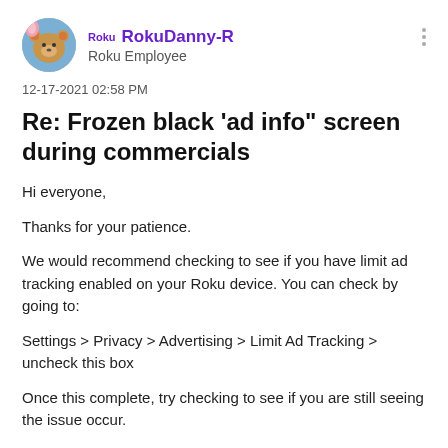Roku RokuDanny-R
Roku Employee
12-17-2021 02:58 PM
Re: Frozen black 'ad info" screen during commercials
Hi everyone,
Thanks for your patience.
We would recommend checking to see if you have limit ad tracking enabled on your Roku device. You can check by going to:
Settings > Privacy > Advertising > Limit Ad Tracking > uncheck this box
Once this complete, try checking to see if you are still seeing the issue occur.
Please keep us posted what you find out!